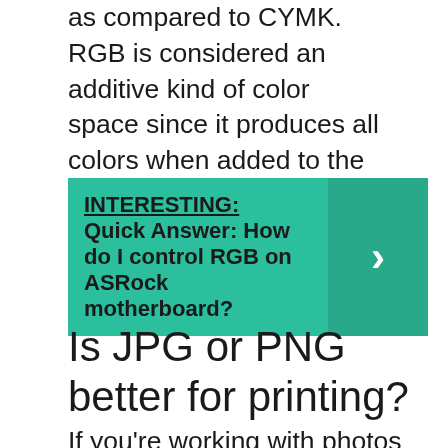as compared to CYMK. RGB is considered an additive kind of color space since it produces all colors when added to the black monitor. Usually, the more light that is added to the monitor, the more white is produced.
[Figure (infographic): Teal/green highlighted box with bold text 'INTERESTING: Quick Answer: How do I control RGB on ASRock motherboard?' and a right-arrow chevron on the right side.]
Is JPG or PNG better for printing?
If you're working with photos on the web, go with JPEG. You're dealing with a print project. PNG graphics are optimized for the screen. You most definitely want a PNG, but you also...